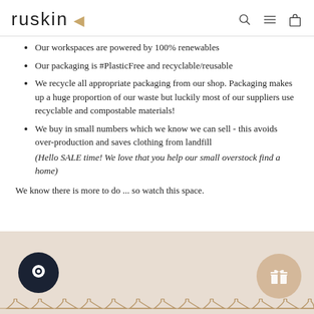ruskin
Our workspaces are powered by 100% renewables
Our packaging is #PlasticFree and recyclable/reusable
We recycle all appropriate packaging from our shop. Packaging makes up a huge proportion of our waste but luckily most of our suppliers use recyclable and compostable materials!
We buy in small numbers which we know we can sell - this avoids over-production and saves clothing from landfill (Hello SALE time! We love that you help our small overstock find a home)
We know there is more to do ... so watch this space.
[Figure (photo): Bottom section showing a light beige/tan background with clothing hangers visible at the bottom edge. A dark navy circular chat bubble icon on the left and a beige/tan circular gift icon on the right.]